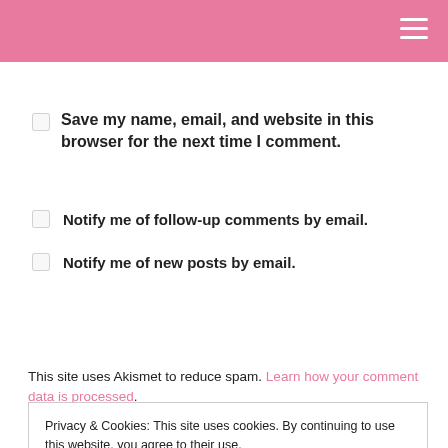Save my name, email, and website in this browser for the next time I comment.
Notify me of follow-up comments by email.
Notify me of new posts by email.
Post Comment
This site uses Akismet to reduce spam. Learn how your comment data is processed.
Privacy & Cookies: This site uses cookies. By continuing to use this website, you agree to their use.
To find out more, including how to control cookies, see here: Cookie Policy
Close and accept